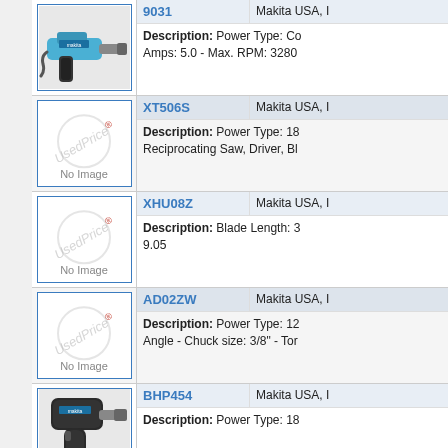[Figure (photo): Photo of Makita 9031 corded angle grinder/body filer tool in blue and black]
9031    Makita USA, I
Description: Power Type: Co
Amps: 5.0 - Max. RPM: 3280
[Figure (photo): No Image placeholder with UsedPrice watermark for XT506S]
XT506S    Makita USA, I
Description: Power Type: 18
Reciprocating Saw, Driver, Bl
[Figure (photo): No Image placeholder with UsedPrice watermark for XHU08Z]
XHU08Z    Makita USA, I
Description: Blade Length: 3
9.05
[Figure (photo): No Image placeholder with UsedPrice watermark for AD02ZW]
AD02ZW    Makita USA, I
Description: Power Type: 12
Angle - Chuck size: 3/8" - Tor
[Figure (photo): Photo of Makita BHP454 cordless drill/driver in black]
BHP454    Makita USA, I
Description: Power Type: 18